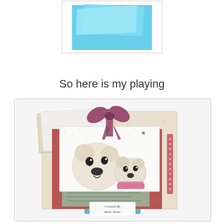[Figure (photo): Top portion showing a light blue envelope/card design on white background, partially visible at top of page]
So here is my playing
[Figure (photo): Handmade greeting card displayed on a blue easel stand. The card features two cute teddy bears (one larger, one smaller wearing a pink scarf) with a starry night background. The card is layered with patterned papers in dusty pink/red glitter and cream floral patterns. A dark pink/burgundy ribbon bow is tied at the top. Text panels in sage green are visible. A 'Created by Belle White' label is at the bottom of the easel. The whole piece is photographed on a white background.]